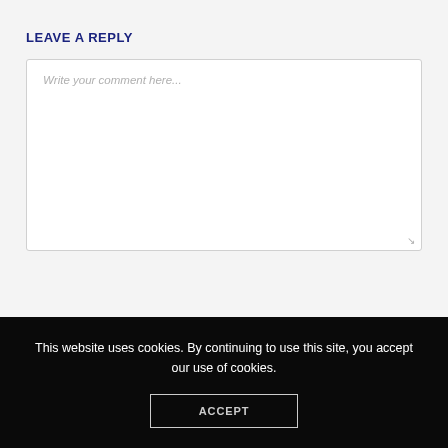LEAVE A REPLY
Write your comment here...
This website uses cookies. By continuing to use this site, you accept our use of cookies.
ACCEPT